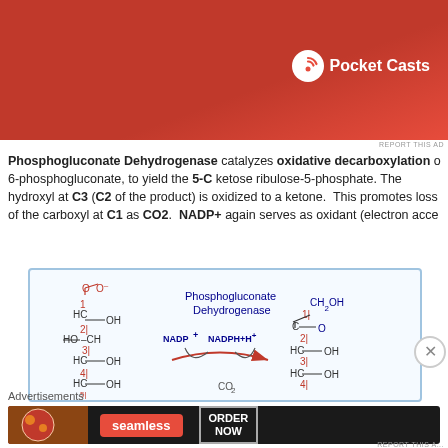[Figure (screenshot): Pocket Casts app advertisement with red background showing a smartphone with audio controls and Pocket Casts logo and text]
REPORT THIS AD
Phosphogluconate Dehydrogenase catalyzes oxidative decarboxylation of 6-phosphogluconate, to yield the 5-C ketose ribulose-5-phosphate. The hydroxyl at C3 (C2 of the product) is oxidized to a ketone. This promotes loss of the carboxyl at C1 as CO2. NADP+ again serves as oxidant (electron acce
[Figure (schematic): Chemical reaction diagram showing Phosphogluconate Dehydrogenase reaction with NADP+ and NADPH+H+ converting 6-phosphogluconate to ribulose-5-phosphate and CO2]
Advertisements
[Figure (screenshot): Seamless food delivery advertisement with pizza image, Seamless logo and ORDER NOW button]